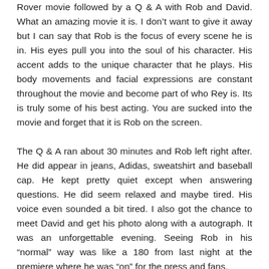Rover movie followed by a Q & A with Rob and David. What an amazing movie it is. I don't want to give it away but I can say that Rob is the focus of every scene he is in. His eyes pull you into the soul of his character. His accent adds to the unique character that he plays. His body movements and facial expressions are constant throughout the movie and become part of who Rey is. Its is truly some of his best acting. You are sucked into the movie and forget that it is Rob on the screen.
The Q & A ran about 30 minutes and Rob left right after. He did appear in jeans, Adidas, sweatshirt and baseball cap. He kept pretty quiet except when answering questions. He did seem relaxed and maybe tired. His voice even sounded a bit tired. I also got the chance to meet David and get his photo along with a autograph. It was an unforgettable evening. Seeing Rob in his “normal” way was like a 180 from last night at the premiere where he was “on” for the press and fans.